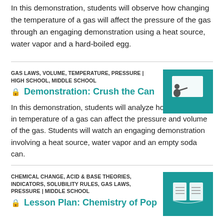In this demonstration, students will observe how changing the temperature of a gas will affect the pressure of the gas through an engaging demonstration using a heat source, water vapor and a hard-boiled egg.
GAS LAWS, VOLUME, TEMPERATURE, PRESSURE | HIGH SCHOOL, MIDDLE SCHOOL
Demonstration: Crush the Can
[Figure (illustration): Teal square icon with a silhouette of a person presenting at a whiteboard/projector screen]
In this demonstration, students will analyze how the change in temperature of a gas can affect the pressure and volume of the gas. Students will watch an engaging demonstration involving a heat source, water vapor and an empty soda can.
CHEMICAL CHANGE, ACID & BASE THEORIES, INDICATORS, SOLUBILITY RULES, GAS LAWS, PRESSURE | MIDDLE SCHOOL
Lesson Plan: Chemistry of Pop